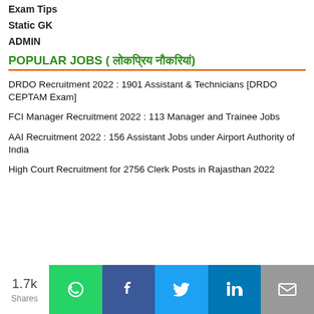Exam Tips
Static GK
ADMIN
POPULAR JOBS ( लोकप्रिय नौकरियां)
DRDO Recruitment 2022 : 1901 Assistant & Technicians [DRDO CEPTAM Exam]
FCI Manager Recruitment 2022 : 113 Manager and Trainee Jobs
AAI Recruitment 2022 : 156 Assistant Jobs under Airport Authority of India
High Court Recruitment for 2756 Clerk Posts in Rajasthan 2022